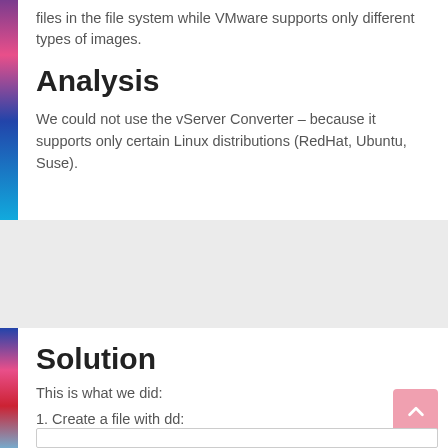files in the file system while VMware supports only different types of images.
Analysis
We could not use the vServer Converter – because it supports only certain Linux distributions (RedHat, Ubuntu, Suse).
Solution
This is what we did:
1. Create a file with dd: